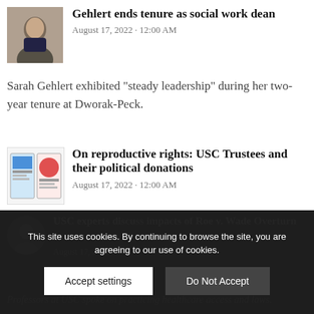[Figure (photo): Small portrait photo of a woman, headshot thumbnail]
Gehlert ends tenure as social work dean
August 17, 2022 - 12:00 AM
Sarah Gehlert exhibited "steady leadership" during her two-year tenure at Dworak-Peck.
[Figure (photo): Thumbnail showing magazine or journal covers with blue and red graphics]
On reproductive rights: USC Trustees and their political donations
August 17, 2022 - 12:00 AM
The Daily Trojan compiled data on Trustees' contributions to politicians and where they stand on rights to abortion and other reproductive services following the historic repeal of Roe v. Wade.
[Figure (photo): Circular avatar/profile photo thumbnail, dark overlay background]
USC experts discuss impacts of Roe v. Wade Overturn
August 17, 2022
Professors at USC spoke on practicing healthcare access and laws.
This site uses cookies. By continuing to browse the site, you are agreeing to our use of cookies.
Accept settings
Do Not Accept